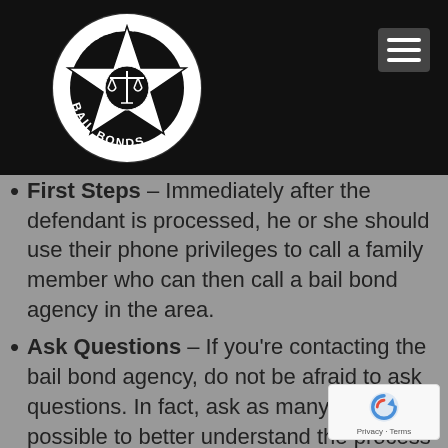[Figure (logo): Drolet Bail Bonds logo: circular badge with a five-pointed star, scales of justice in the center, text 'DROLET' at the top and 'BAIL BONDS' at the bottom, on a black header bar.]
First Steps – Immediately after the defendant is processed, he or she should use their phone privileges to call a family member who can then call a bail bond agency in the area.
Ask Questions – If you're contacting the bail bond agency, do not be afraid to ask questions. In fact, ask as many as possible to better understand the process and the coming days.